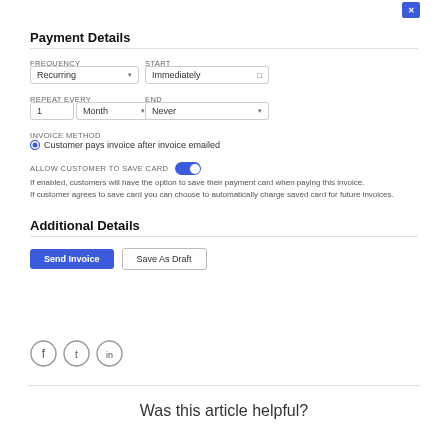[Figure (screenshot): Small blue icon button in top right corner]
Payment Details
FREQUENCY
Recurring (dropdown)
START
Immediately (date input)
REPEAT EVERY
1  Month (dropdown)
END
Never (dropdown)
INVOICE METHOD
Customer pays invoice after invoice emailed
ALLOW CUSTOMER TO SAVE CARD
If enabled, customers will have the option to save their payment card when paying this invoice. If customer agrees to save card you can choose to automatically charge saved card for future invoices.
Additional Details
Send Invoice  Save As Draft
[Figure (illustration): Social media icons: Facebook, Twitter, LinkedIn in circles]
Was this article helpful?